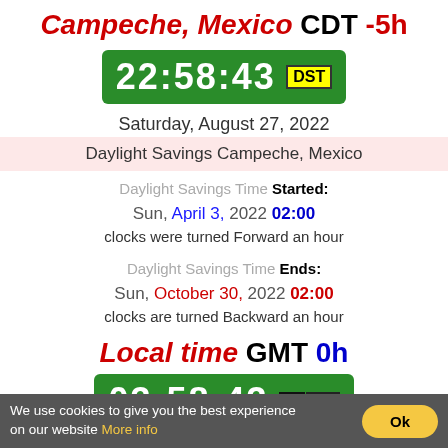Campeche, Mexico CDT -5h
[Figure (other): Green digital clock display showing 22:58:43 with yellow DST badge]
Saturday, August 27, 2022
Daylight Savings Campeche, Mexico
Daylight Savings Time Started: Sun, April 3, 2022 02:00 clocks were turned Forward an hour
Daylight Savings Time Ends: Sun, October 30, 2022 02:00 clocks are turned Backward an hour
Local time GMT 0h
[Figure (other): Green digital clock display showing 03:58:43 with NO DST badge]
We use cookies to give you the best experience on our website More info